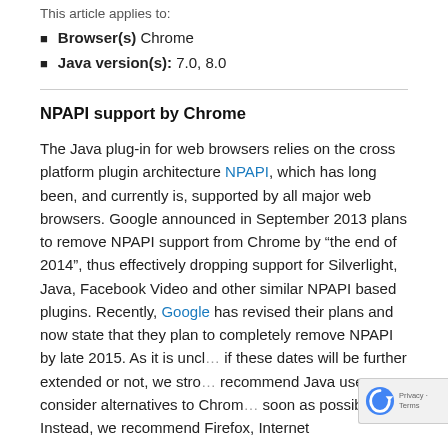This article applies to:
Browser(s) Chrome
Java version(s): 7.0, 8.0
NPAPI support by Chrome
The Java plug-in for web browsers relies on the cross platform plugin architecture NPAPI, which has long been, and currently is, supported by all major web browsers. Google announced in September 2013 plans to remove NPAPI support from Chrome by “the end of 2014”, thus effectively dropping support for Silverlight, Java, Facebook Video and other similar NPAPI based plugins. Recently, Google has revised their plans and now state that they plan to completely remove NPAPI by late 2015. As it is uncl… if these dates will be further extended or not, we stro… recommend Java users consider alternatives to Chrom… soon as possible. Instead, we recommend Firefox, Internet